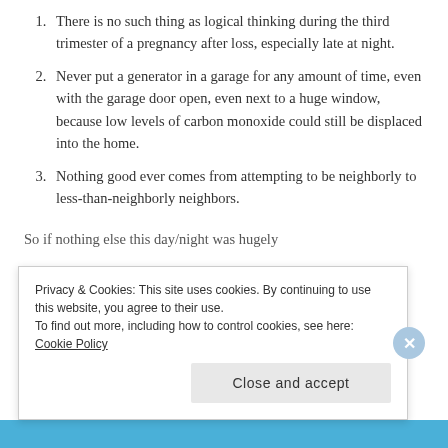There is no such thing as logical thinking during the third trimester of a pregnancy after loss, especially late at night.
Never put a generator in a garage for any amount of time, even with the garage door open, even next to a huge window, because low levels of carbon monoxide could still be displaced into the home.
Nothing good ever comes from attempting to be neighborly to less-than-neighborly neighbors.
So if nothing else this day/night was hugely
Privacy & Cookies: This site uses cookies. By continuing to use this website, you agree to their use.
To find out more, including how to control cookies, see here: Cookie Policy
Close and accept